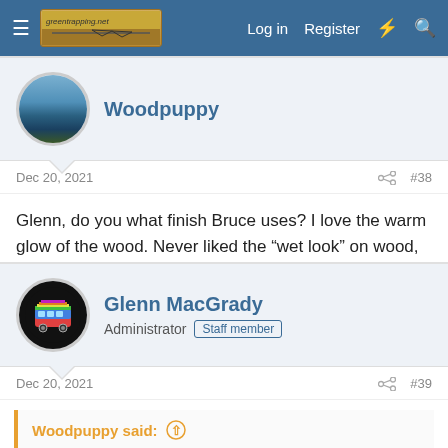Log in  Register
Woodpuppy
Dec 20, 2021  #38
Glenn, do you what finish Bruce uses? I love the warm glow of the wood. Never liked the “wet look” on wood, I've always preferred a satin or hand-rubbed finish.
Glenn MacGrady
Administrator  Staff member
Dec 20, 2021  #39
Woodpuppy said: ↑
Glenn, do you what finish Bruce uses? I love the warm glow of the wood. Never liked the “wet look” on wood, I’ve always preferred a satin or hand-rubbed finish.